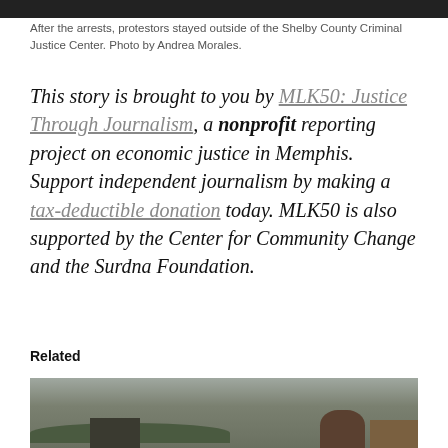[Figure (photo): Top edge of a photo showing protestors outside the Shelby County Criminal Justice Center]
After the arrests, protestors stayed outside of the Shelby County Criminal Justice Center. Photo by Andrea Morales.
This story is brought to you by MLK50: Justice Through Journalism, a nonprofit reporting project on economic justice in Memphis. Support independent journalism by making a tax-deductible donation today. MLK50 is also supported by the Center for Community Change and the Surdna Foundation.
Related
[Figure (photo): Bottom photo showing a building with trees in a parking area]